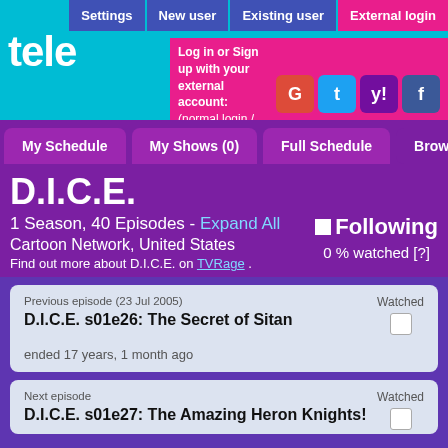tele
Settings | New user | Existing user | External login
Log in or Sign up with your external account: (normal login / normal sign up)
My Schedule | My Shows (0) | Full Schedule | Browse Sh...
D.I.C.E.
1 Season, 40 Episodes - Expand All
Cartoon Network, United States
Find out more about D.I.C.E. on TVRage .
Following
0 % watched [?]
Previous episode (23 Jul 2005)
D.I.C.E. s01e26: The Secret of Sitan
ended 17 years, 1 month ago
Watched
Next episode
D.I.C.E. s01e27: The Amazing Heron Knights!
Watched